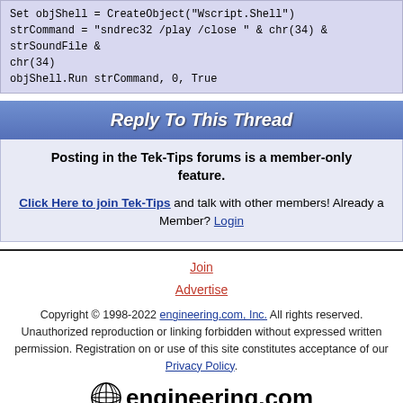Set objShell = CreateObject("Wscript.Shell")
strCommand = "sndrec32 /play /close " & chr(34) & strSoundFile & chr(34)
objShell.Run strCommand, 0, True
Reply To This Thread
Posting in the Tek-Tips forums is a member-only feature.
Click Here to join Tek-Tips and talk with other members! Already a Member? Login
Join
Advertise
Copyright © 1998-2022 engineering.com, Inc. All rights reserved. Unauthorized reproduction or linking forbidden without expressed written permission. Registration on or use of this site constitutes acceptance of our Privacy Policy.
[Figure (logo): engineering.com logo with globe icon]